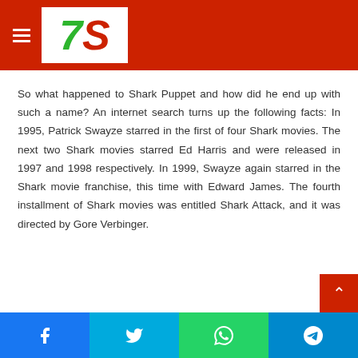7S logo and navigation header
So what happened to Shark Puppet and how did he end up with such a name? An internet search turns up the following facts: In 1995, Patrick Swayze starred in the first of four Shark movies. The next two Shark movies starred Ed Harris and were released in 1997 and 1998 respectively. In 1999, Swayze again starred in the Shark movie franchise, this time with Edward James. The fourth installment of Shark movies was entitled Shark Attack, and it was directed by Gore Verbinger.
Social sharing buttons: Facebook, Twitter, WhatsApp, Telegram